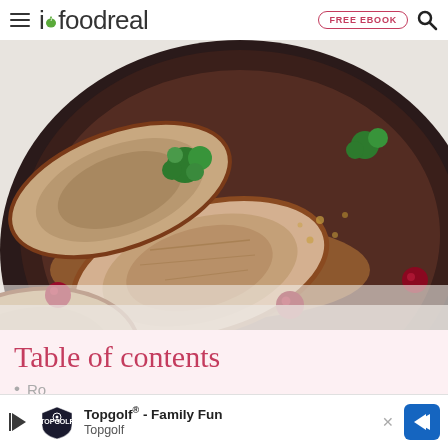ifoodreal | FREE EBOOK
[Figure (photo): Overhead view of sliced roasted turkey or pork on a dark round plate/pan, garnished with fresh parsley and red cranberries, on a white marble surface]
Table of contents
Ro...
[Figure (infographic): Advertisement banner for Topgolf - Family Fun showing a Topgolf logo with play button, directional arrow icon, and the text 'Topgolf® - Family Fun' and 'Topgolf']